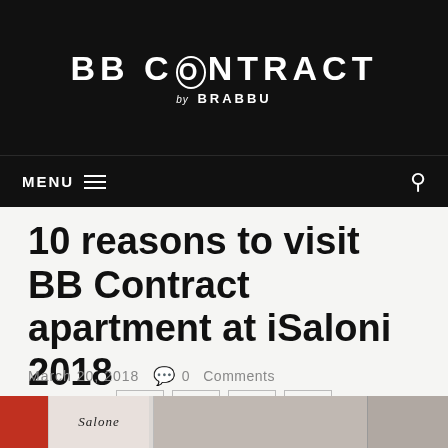BB CONTRACT by BRABBU
MENU
10 reasons to visit BB Contract apartment at iSaloni 2018
March 20, 2018   0 Comments
[Figure (screenshot): Social sharing buttons: Facebook, Twitter, Pinterest, Google+]
[Figure (photo): Bottom image strip showing Salone logo and interior/furniture images]